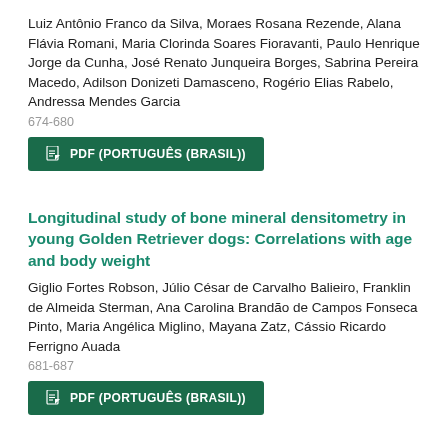Luiz Antônio Franco da Silva, Moraes Rosana Rezende, Alana Flávia Romani, Maria Clorinda Soares Fioravanti, Paulo Henrique Jorge da Cunha, José Renato Junqueira Borges, Sabrina Pereira Macedo, Adilson Donizeti Damasceno, Rogério Elias Rabelo, Andressa Mendes Garcia
674-680
PDF (PORTUGUÊS (BRASIL))
Longitudinal study of bone mineral densitometry in young Golden Retriever dogs: Correlations with age and body weight
Giglio Fortes Robson, Júlio César de Carvalho Balieiro, Franklin de Almeida Sterman, Ana Carolina Brandão de Campos Fonseca Pinto, Maria Angélica Miglino, Mayana Zatz, Cássio Ricardo Ferrigno Auada
681-687
PDF (PORTUGUÊS (BRASIL))
Participation of the reticulorumen and omasum in